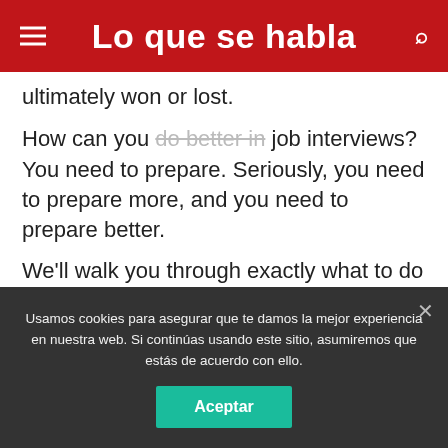Lo que se habla
ultimately won or lost.
How can you do better in job interviews? You need to prepare. Seriously, you need to prepare more, and you need to prepare better.
We'll walk you through exactly what to do before, during and after the interview. It doesn't matter if this is your first interview or your 40th, following these interview-preparation tips will help you leave a positive impression on your soon-to-be employer.
Usamos cookies para asegurar que te damos la mejor experiencia en nuestra web. Si continúas usando este sitio, asumiremos que estás de acuerdo con ello.